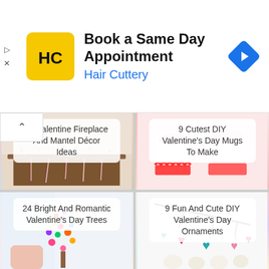[Figure (screenshot): Hair Cuttery advertisement banner: yellow logo with HC initials, title 'Book a Same Day Appointment', subtitle 'Hair Cuttery' in blue, navigation arrow icon on right]
25 Valentine Fireplace And Mantel Décor Ideas
9 Cutest DIY Valentine's Day Mugs To Make
24 Bright And Romantic Valentine's Day Trees
9 Fun And Cute DIY Valentine's Day Ornaments